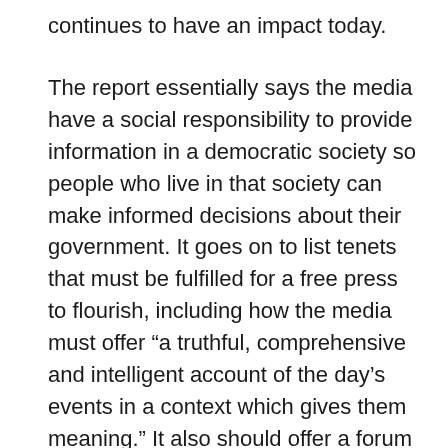continues to have an impact today.
The report essentially says the media have a social responsibility to provide information in a democratic society so people who live in that society can make informed decisions about their government. It goes on to list tenets that must be fulfilled for a free press to flourish, including how the media must offer “a truthful, comprehensive and intelligent account of the day’s events in a context which gives them meaning.” It also should offer a forum to exchange comments and criticism, and to share them. Finally, the press ideally should help to clarify society’s goals and reach members of the community.